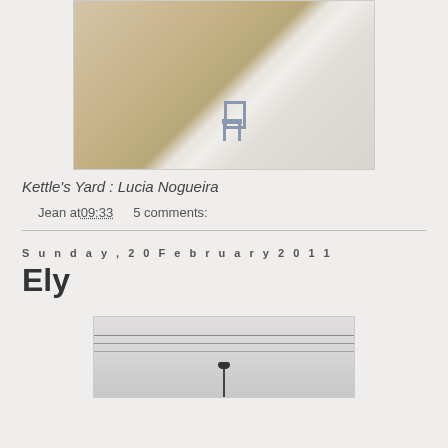[Figure (photo): Interior gallery photo showing a wooden floor, a lone chair, and reflective surfaces — Kettle's Yard, Lucia Nogueira exhibition]
Kettle's Yard : Lucia Nogueira
Jean at 09:33   5 comments:
Sunday, 20 February 2011
Ely
[Figure (photo): Exterior photo, likely showing a pale sky with power lines and a street lamp, taken in Ely]